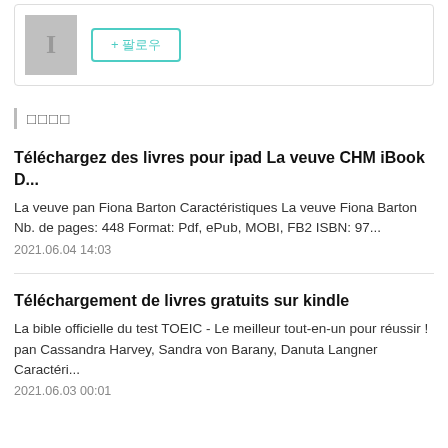[Figure (other): Book placeholder image with grey background and text cursor icon, alongside a teal '+ 팔로우' button]
□□□□
Téléchargez des livres pour ipad La veuve CHM iBook D...
La veuve pan Fiona Barton Caractéristiques La veuve Fiona Barton Nb. de pages: 448 Format: Pdf, ePub, MOBI, FB2 ISBN: 97...
2021.06.04 14:03
Téléchargement de livres gratuits sur kindle
La bible officielle du test TOEIC - Le meilleur tout-en-un pour réussir ! pan Cassandra Harvey, Sandra von Barany, Danuta Langner Caractéri...
2021.06.03 00:01